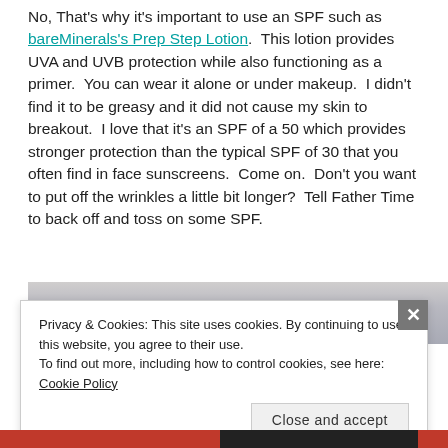No, That's why it's important to use an SPF such as bareMinerals's Prep Step Lotion.  This lotion provides UVA and UVB protection while also functioning as a primer.  You can wear it alone or under makeup.  I didn't find it to be greasy and it did not cause my skin to breakout.  I love that it's an SPF of a 50 which provides stronger protection than the typical SPF of 30 that you often find in face sunscreens.  Come on.  Don't you want to put off the wrinkles a little bit longer?  Tell Father Time to back off and toss on some SPF.
[Figure (photo): Partial image strip visible at the top, showing a grey/sky background, partially obscured by cookie banner]
Privacy & Cookies: This site uses cookies. By continuing to use this website, you agree to their use.
To find out more, including how to control cookies, see here: Cookie Policy
Close and accept